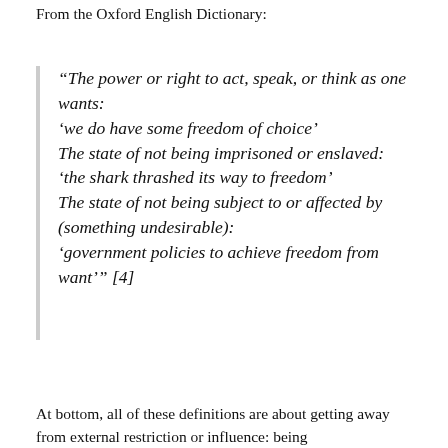From the Oxford English Dictionary:
“The power or right to act, speak, or think as one wants: ‘we do have some freedom of choice’ The state of not being imprisoned or enslaved: ‘the shark thrashed its way to freedom’ The state of not being subject to or affected by (something undesirable): ‘government policies to achieve freedom from want’” [4]
At bottom, all of these definitions are about getting away from external restriction or influence: being